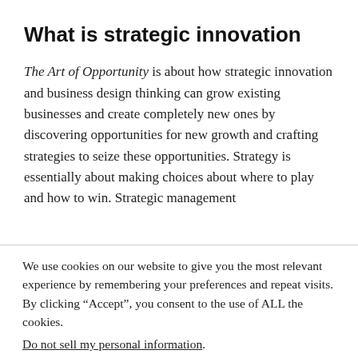What is strategic innovation
The Art of Opportunity is about how strategic innovation and business design thinking can grow existing businesses and create completely new ones by discovering opportunities for new growth and crafting strategies to seize these opportunities. Strategy is essentially about making choices about where to play and how to win. Strategic management
We use cookies on our website to give you the most relevant experience by remembering your preferences and repeat visits. By clicking “Accept”, you consent to the use of ALL the cookies.
Do not sell my personal information.
Cookie settings  ACCEPT